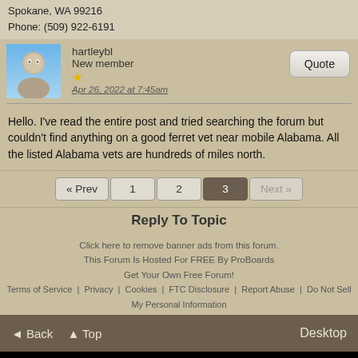Spokane, WA 99216
Phone: (509) 922-6191
hartleybl
New Member
★
Apr 26, 2022 at 7:45am
Hello. I've read the entire post and tried searching the forum but couldn't find anything on a good ferret vet near mobile Alabama. All the listed Alabama vets are hundreds of miles north.
« Prev  1  2  3  Next »
Reply To Topic
Click here to remove banner ads from this forum.
This Forum Is Hosted For FREE By ProBoards
Get Your Own Free Forum!
Terms of Service  Privacy  Cookies  FTC Disclosure  Report Abuse  Do Not Sell My Personal Information
◄ Back  ▲ Top  Desktop